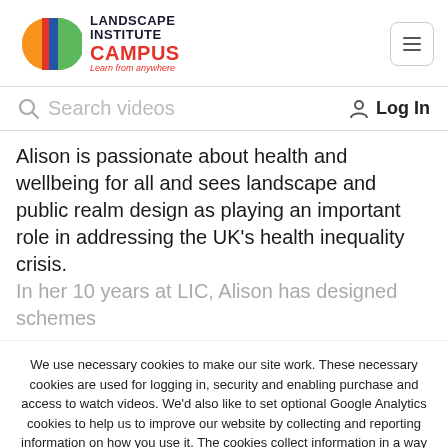[Figure (logo): Landscape Institute Campus logo with colourful semicircle icon and text 'LANDSCAPE INSTITUTE CAMPUS Learn from anywhere']
Search videos
Log In
Alison is passionate about health and wellbeing for all and sees landscape and public realm design as playing an important role in addressing the UK's health inequality crisis. In her 10 years at LIC, Alison has designed schemes
We use necessary cookies to make our site work. These necessary cookies are used for logging in, security and enabling purchase and access to watch videos. We'd also like to set optional Google Analytics cookies to help us to improve our website by collecting and reporting information on how you use it. The cookies collect information in a way that does not directly identify anyone. We won't set optional analytics cookies unless you enable them by pressing 'Accept'. This will set a cookie on your device to remember your preferences.
[cookie_button] [cookie_reject]
[cookie_settings] [cookie_link]